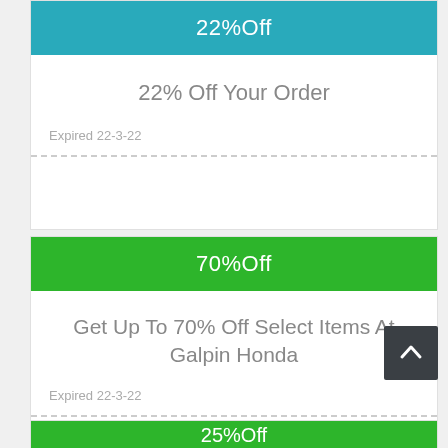22%Off
22% Off Your Order
Expired 22-3-22
70%Off
Get Up To 70% Off Select Items At Galpin Honda
Expired 22-3-22
25%Off